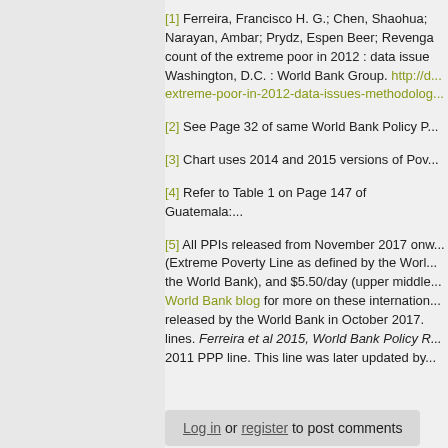[1] Ferreira, Francisco H. G.; Chen, Shaohua; Narayan, Ambar; Prydz, Espen Beer; Revenga... count of the extreme poor in 2012 : data issue... Washington, D.C. : World Bank Group. http://... extreme-poor-in-2012-data-issues-methodolog...
[2] See Page 32 of same World Bank Policy P...
[3] Chart uses 2014 and 2015 versions of Pov...
[4] Refer to Table 1 on Page 147 of Guatemala:...
[5] All PPIs released from November 2017 onw... (Extreme Poverty Line as defined by the Worl... the World Bank), and $5.50/day (upper middle... World Bank blog for more on these internation... released by the World Bank in October 2017.... lines. Ferreira et al 2015, World Bank Policy R... 2011 PPP line. This line was later updated by...
Log in or register to post comments